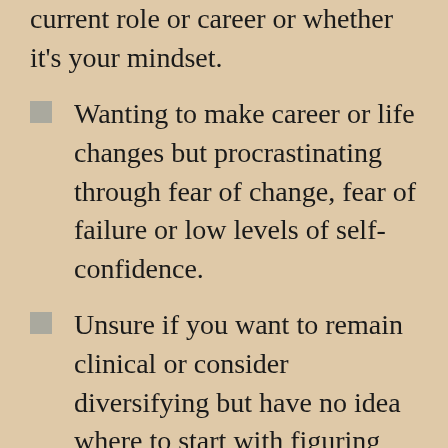current role or career or whether it's your mindset.
Wanting to make career or life changes but procrastinating through fear of change, fear of failure or low levels of self-confidence.
Unsure if you want to remain clinical or consider diversifying but have no idea where to start with figuring this out.